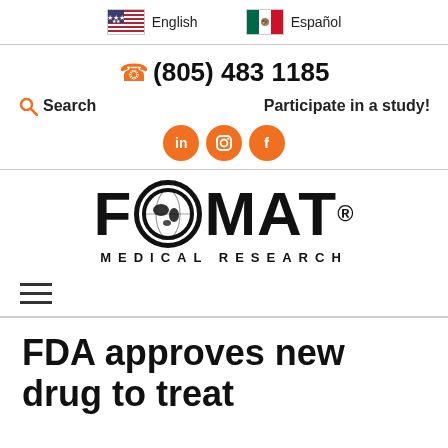English  Español
(805) 483 1185
Search  Participate in a study!
[Figure (illustration): Three orange circle social media icons: LinkedIn (in), Instagram (camera), Facebook (f)]
[Figure (logo): FOMAT Medical Research logo — large bold black text FOMAT with a globe replacing the O, and MEDICAL RESEARCH below in spaced caps]
[Figure (illustration): Hamburger menu icon — three horizontal lines]
FDA approves new drug to treat